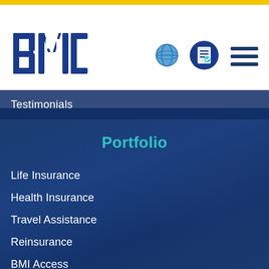[Figure (logo): BMI company logo in blue with bold block letters B, M, I]
[Figure (illustration): Globe icon representing international/worldwide coverage]
[Figure (illustration): Document/checklist icon inside a blue circle]
[Figure (illustration): Hamburger menu icon with three horizontal lines]
Testimonials
Portfolio
Life Insurance
Health Insurance
Travel Assistance
Reinsurance
BMI Access